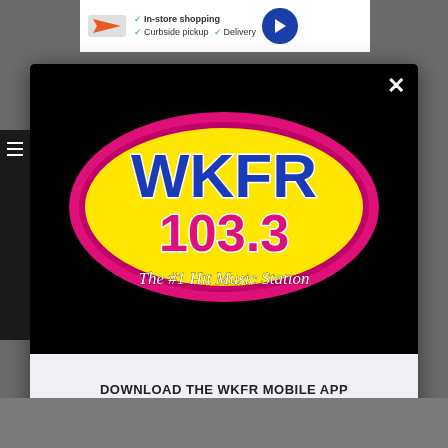[Figure (screenshot): Top ad banner showing In-store shopping, Curbside pickup, Delivery options with navigation arrow icon]
[Figure (logo): WKFR 103.3 The #1 Hit Music Station radio station logo - oval shape with yellow/magenta gradient, blue WKFR text, pink 103.3 text]
DOWNLOAD THE WKFR MOBILE APP
GET OUR FREE MOBILE APP
Also listen on:  amazon alexa